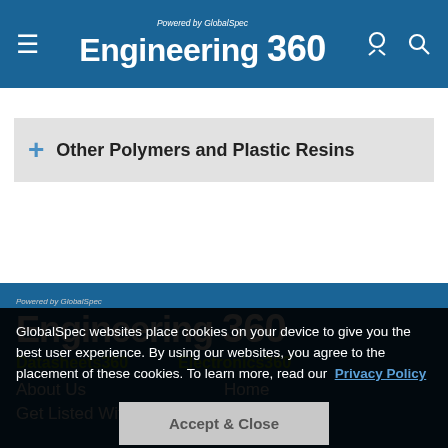Engineering 360 — Powered by GlobalSpec
+ Other Polymers and Plastic Resins
Powered by GlobalSpec — Engineering 360
Datasheets360   Electronics360
About Us    Home
Get Listed With Us    Site Map
GlobalSpec websites place cookies on your device to give you the best user experience. By using our websites, you agree to the placement of these cookies. To learn more, read our Privacy Policy
Accept & Close